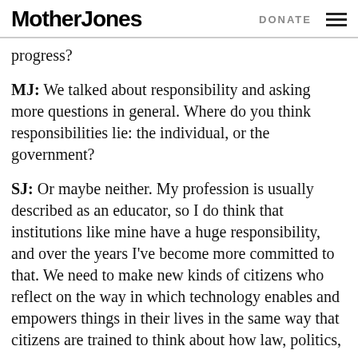Mother Jones | DONATE
progress?
MJ: We talked about responsibility and asking more questions in general. Where do you think responsibilities lie: the individual, or the government?
SJ: Or maybe neither. My profession is usually described as an educator, so I do think that institutions like mine have a huge responsibility, and over the years I've become more committed to that. We need to make new kinds of citizens who reflect on the way in which technology enables and empowers things in their lives in the same way that citizens are trained to think about how law, politics,